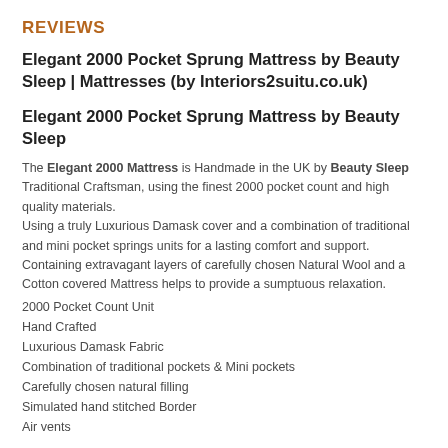REVIEWS
Elegant 2000 Pocket Sprung Mattress by Beauty Sleep | Mattresses (by Interiors2suitu.co.uk)
Elegant 2000 Pocket Sprung Mattress by Beauty Sleep
The Elegant 2000 Mattress is Handmade in the UK by Beauty Sleep Traditional Craftsman, using the finest 2000 pocket count and high quality materials.
Using a truly Luxurious Damask cover and a combination of traditional and mini pocket springs units for a lasting comfort and support.
Containing extravagant layers of carefully chosen Natural Wool and a Cotton covered Mattress helps to provide a sumptuous relaxation.
2000 Pocket Count Unit
Hand Crafted
Luxurious Damask Fabric
Combination of traditional pockets & Mini pockets
Carefully chosen natural filling
Simulated hand stitched Border
Air vents